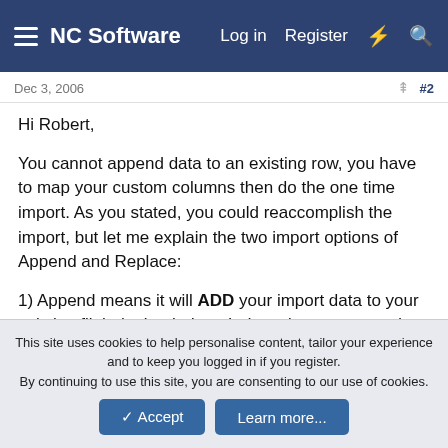NC Software | Log in | Register
Dec 3, 2006  #2
Hi Robert,

You cannot append data to an existing row, you have to map your custom columns then do the one time import. As you stated, you could reaccomplish the import, but let me explain the two import options of Append and Replace:

1) Append means it will ADD your import data to your existing flight logbook data. It doesn't merge records, so if you already have 1000 line entries and do an import of a 500 row data file, you'll end up with 1500 total rows.

2) The Replace option will first DELETE your entire flight
This site uses cookies to help personalise content, tailor your experience and to keep you logged in if you register.
By continuing to use this site, you are consenting to our use of cookies.